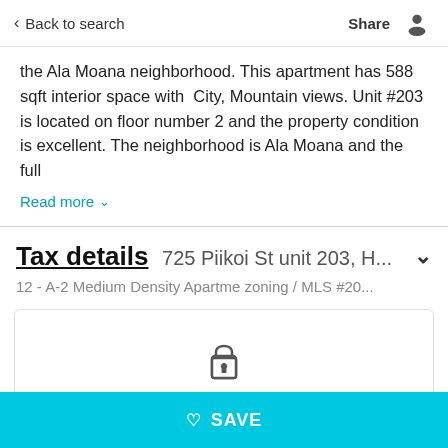Back to search   Share
the Ala Moana neighborhood. This apartment has 588 sqft interior space with  City, Mountain views. Unit #203 is located on floor number 2 and the property condition is excellent. The neighborhood is Ala Moana and the full
Read more
Tax details 725 Piikoi St unit 203, H...
12 - A-2 Medium Density Apartme zoning / MLS #20...
[Figure (other): Lock icon indicating restricted content]
Local Hawaii MLS rules require you
SAVE